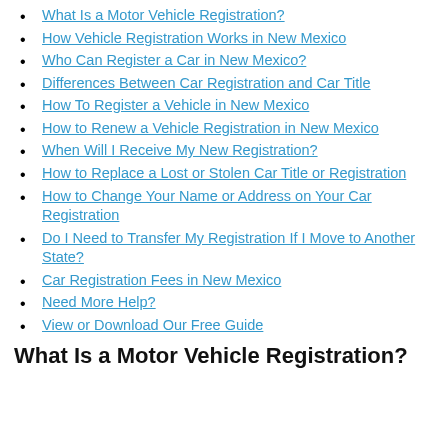What Is a Motor Vehicle Registration?
How Vehicle Registration Works in New Mexico
Who Can Register a Car in New Mexico?
Differences Between Car Registration and Car Title
How To Register a Vehicle in New Mexico
How to Renew a Vehicle Registration in New Mexico
When Will I Receive My New Registration?
How to Replace a Lost or Stolen Car Title or Registration
How to Change Your Name or Address on Your Car Registration
Do I Need to Transfer My Registration If I Move to Another State?
Car Registration Fees in New Mexico
Need More Help?
View or Download Our Free Guide
What Is a Motor Vehicle Registration?